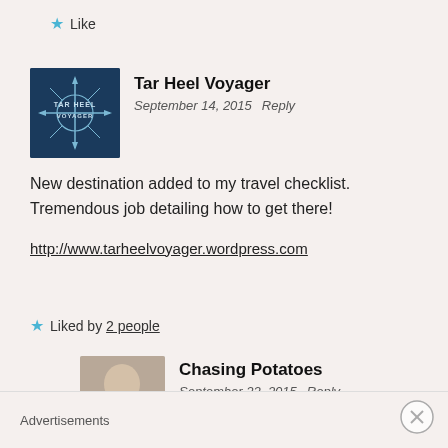★ Like
Tar Heel Voyager
September 14, 2015   Reply
New destination added to my travel checklist. Tremendous job detailing how to get there!
http://www.tarheelvoyager.wordpress.com
★ Liked by 2 people
Chasing Potatoes
September 22, 2015   Reply
Hi Tar Heel, thanks for reading 🙂 Hope my blog helps for
Advertisements